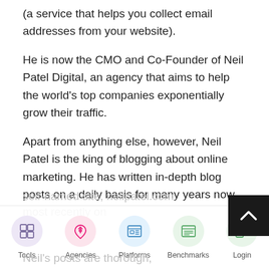(a service that helps you collect email addresses from your website).
He is now the CMO and Co-Founder of Neil Patel Digital, an agency that aims to help the world's top companies exponentially grow their traffic.
Apart from anything else, however, Neil Patel is the king of blogging about online marketing. He has written in-depth blog posts on a daily basis for many years now, most recently on
self-named site, neilpatel.com.
Neil's posts are thorough, well-researched and
Tools | Agencies | Platforms | Benchmarks | Login